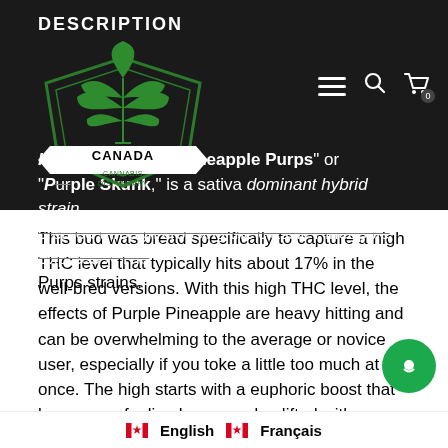DESCRIPTION
[Figure (logo): Canada Cannabis Dispensary logo with green cannabis leaf and shield emblem]
Purple Pineapple, also known as "Pineapple Purps" or "Pineapple Purple Skunk," is a sativa dominant hybrid strain created through crossing the classic Pineapple Express X The Purps strains.
This bud was bread specifically to capture a high THC level that typically hits about 17% in the well-bred versions. With this high THC level, the effects of Purple Pineapple are heavy hitting and can be overwhelming to the average or novice user, especially if you toke a little too much at once. The high starts with a euphoric boost that leaves you feeling happy and uplifted with a sense of ease. As your mind soars through peaceful bliss, you'll start to become more social, talking to anyone around you. In this state you won't notice a creeping body buzz washing over you, lulling you down into deep
English   Français